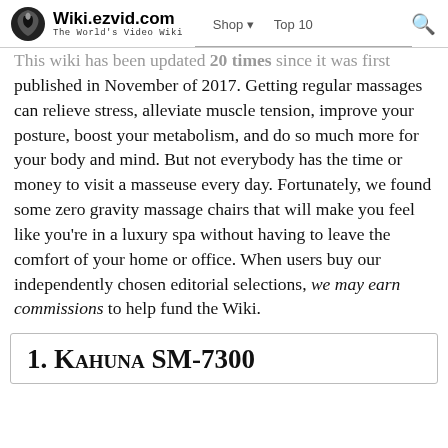Wiki.ezvid.com — The World's Video Wiki | Shop | Top 10
This wiki has been updated 20 times since it was first published in November of 2017. Getting regular massages can relieve stress, alleviate muscle tension, improve your posture, boost your metabolism, and do so much more for your body and mind. But not everybody has the time or money to visit a masseuse every day. Fortunately, we found some zero gravity massage chairs that will make you feel like you're in a luxury spa without having to leave the comfort of your home or office. When users buy our independently chosen editorial selections, we may earn commissions to help fund the Wiki.
1. Kahuna SM-7300